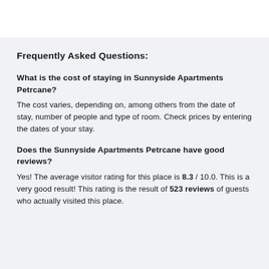Frequently Asked Questions:
What is the cost of staying in Sunnyside Apartments Petrcane?
The cost varies, depending on, among others from the date of stay, number of people and type of room. Check prices by entering the dates of your stay.
Does the Sunnyside Apartments Petrcane have good reviews?
Yes! The average visitor rating for this place is 8.3 / 10.0. This is a very good result! This rating is the result of 523 reviews of guests who actually visited this place.